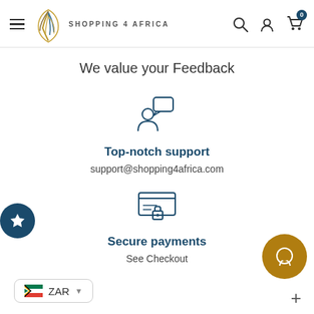Shopping 4 Africa – navigation header with logo, search, account, cart (0)
We value your Feedback
[Figure (illustration): Person with speech bubble icon – top-notch support]
Top-notch support
support@shopping4africa.com
[Figure (illustration): Credit card with padlock icon – secure payments]
Secure payments
See Checkout
ZAR
[Figure (illustration): Gold chat bubble button bottom right]
[Figure (illustration): Teal star/favorites button on left side]
[Figure (illustration): Plus button bottom right corner]